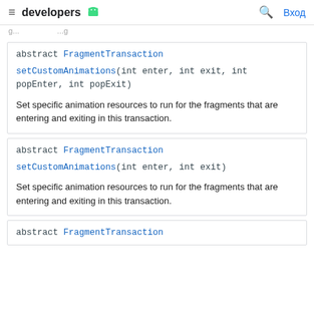≡ developers 🤖  🔍 Вход
abstract FragmentTransaction
setCustomAnimations(int enter, int exit, int popEnter, int popExit)
Set specific animation resources to run for the fragments that are entering and exiting in this transaction.
abstract FragmentTransaction
setCustomAnimations(int enter, int exit)
Set specific animation resources to run for the fragments that are entering and exiting in this transaction.
abstract FragmentTransaction